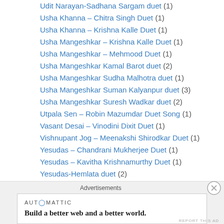Udit Narayan-Sadhana Sargam duet (1)
Usha Khanna – Chitra Singh Duet (1)
Usha Khanna – Krishna Kalle Duet (1)
Usha Mangeshkar – Krishna Kalle Duet (1)
Usha Mangeshkar – Mehmood Duet (1)
Usha Mangeshkar Kamal Barot duet (2)
Usha Mangeshkar Sudha Malhotra duet (1)
Usha Mangeshkar Suman Kalyanpur duet (3)
Usha Mangeshkar Suresh Wadkar duet (2)
Utpala Sen – Robin Mazumdar Duet Song (1)
Vasant Desai – Vinodini Dixit Duet (1)
Vishnupant Jog – Meenakshi Shirodkar Duet (1)
Yesudas – Chandrani Mukherjee Duet (1)
Yesudas – Kavitha Krishnamurthy Duet (1)
Yesudas-Hemlata duet (2)
Zeenat Begum – Imdaad Husian Duet (1)
Advertisements
AUTOMATTIC
Build a better web and a better world.